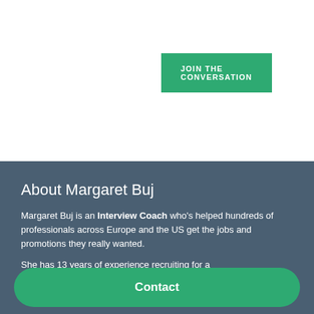JOIN THE CONVERSATION
Search
About Margaret Buj
Margaret Buj is an Interview Coach who’s helped hundreds of professionals across Europe and the US get the jobs and promotions they really wanted.
She has 13 years of experience recruiting for a
sectors.
Contact